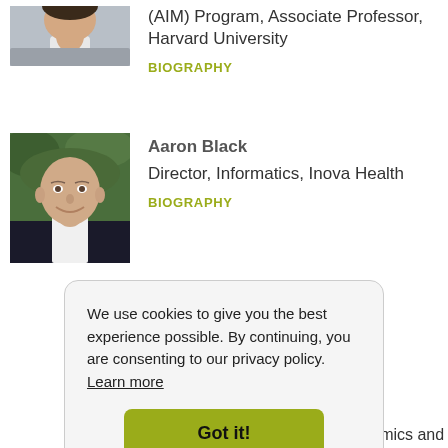[Figure (photo): Partial photo of a man in a grey sweater, cropped at top]
(AIM) Program, Associate Professor, Harvard University
BIOGRAPHY
[Figure (photo): Photo of Aaron Black, a bald man smiling, with green foliage background]
Aaron Black
Director, Informatics, Inova Health
BIOGRAPHY
We use cookies to give you the best experience possible. By continuing, you are consenting to our privacy policy. Learn more
Got it!
Sciences, Icahn Institute for Genomics and Multi...